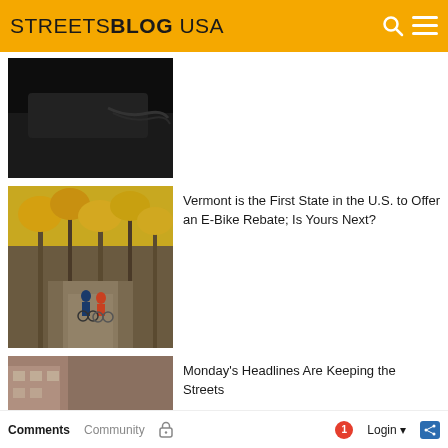STREETSBLOG USA
[Figure (photo): Dark image of a car with cables/charging equipment]
[Figure (photo): Two cyclists riding on a path through autumn trees with yellow foliage]
Vermont is the First State in the U.S. to Offer an E-Bike Rebate; Is Yours Next?
[Figure (photo): People sitting outdoors in a parklet/street dining area with a 'Park in Progress' sign]
Monday's Headlines Are Keeping the Streets
Comments   Community   [lock]   1   Login